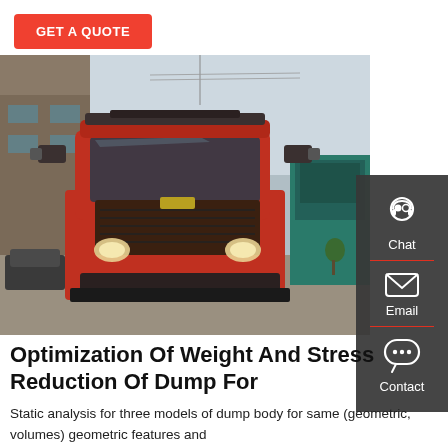GET A QUOTE
[Figure (photo): Front view of a red HOWO dump truck parked in a factory yard, with other vehicles and a teal truck visible in the background. Industrial building on the left.]
Optimization Of Weight And Stress Reduction Of Dump For
Static analysis for three models of dump body for same (geometric, volumes) geometric features and